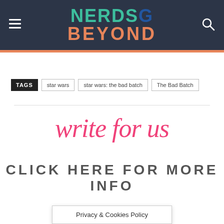NERDS& BEYOND
TAGS  star wars  star wars: the bad batch  The Bad Batch
write for us
CLICK HERE FOR MORE INFO
Privacy & Cookies Policy